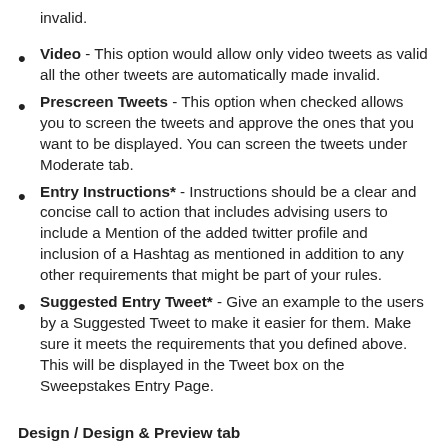Video - This option would allow only video tweets as valid all the other tweets are automatically made invalid.
Prescreen Tweets - This option when checked allows you to screen the tweets and approve the ones that you want to be displayed. You can screen the tweets under Moderate tab.
Entry Instructions* - Instructions should be a clear and concise call to action that includes advising users to include a Mention of the added twitter profile and inclusion of a Hashtag as mentioned in addition to any other requirements that might be part of your rules.
Suggested Entry Tweet* - Give an example to the users by a Suggested Tweet to make it easier for them. Make sure it meets the requirements that you defined above. This will be displayed in the Tweet box on the Sweepstakes Entry Page.
Design / Design & Preview tab